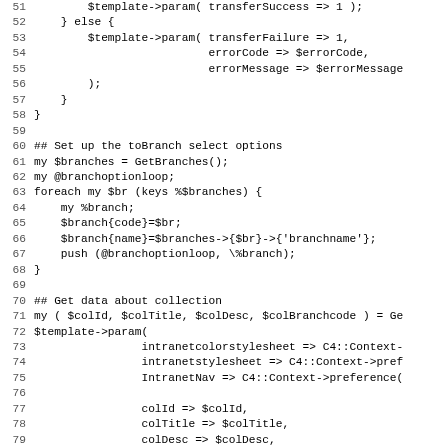[Figure (screenshot): Source code listing in a monospace font showing Perl/template code, lines 51-82, with line numbers on the left and code on the right. The code sets template parameters for transfer success/failure, sets up branch select options with a foreach loop, and gets data about a collection.]